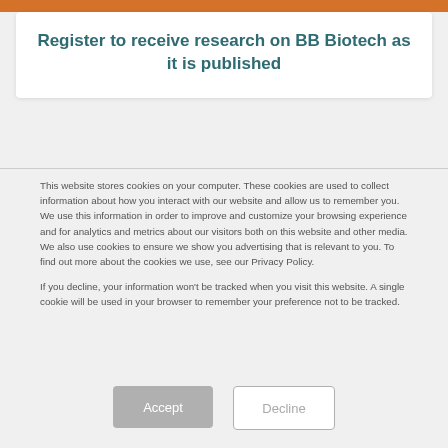Register to receive research on BB Biotech as it is published
This website stores cookies on your computer. These cookies are used to collect information about how you interact with our website and allow us to remember you. We use this information in order to improve and customize your browsing experience and for analytics and metrics about our visitors both on this website and other media. We also use cookies to ensure we show you advertising that is relevant to you. To find out more about the cookies we use, see our Privacy Policy.
If you decline, your information won't be tracked when you visit this website. A single cookie will be used in your browser to remember your preference not to be tracked.